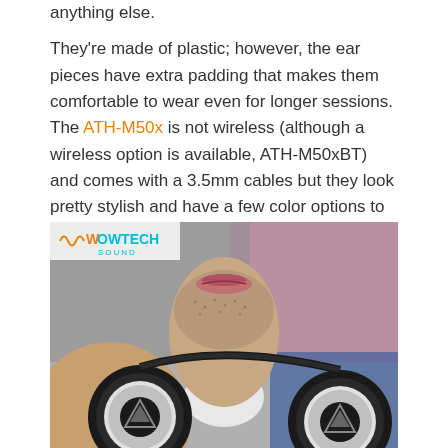anything else.
They're made of plastic; however, the ear pieces have extra padding that makes them comfortable to wear even for longer sessions. The ATH-M50x is not wireless (although a wireless option is available, ATH-M50xBT) and comes with a 3.5mm cables but they look pretty stylish and have a few color options to choose from.
[Figure (photo): Close-up photo of a man wearing Audio-Technica ATH-M50x headphones around his neck, with the headphones' ear cups visible showing the Audio-Technica logo. The image has a WowTech Sound watermark in the top left corner.]